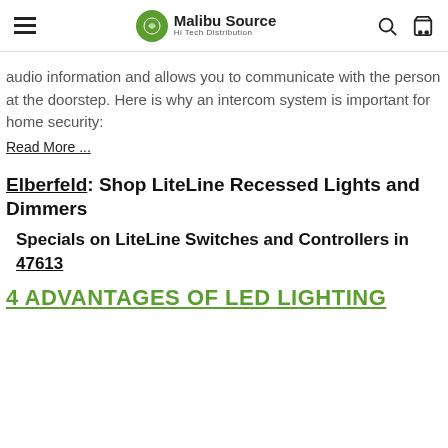Malibu Source Hi Tech Distribution
audio information and allows you to communicate with the person at the doorstep. Here is why an intercom system is important for home security:
Read More ...
Elberfeld: Shop LiteLine Recessed Lights and Dimmers
Specials on LiteLine Switches and Controllers in 47613
4 ADVANTAGES OF LED LIGHTING